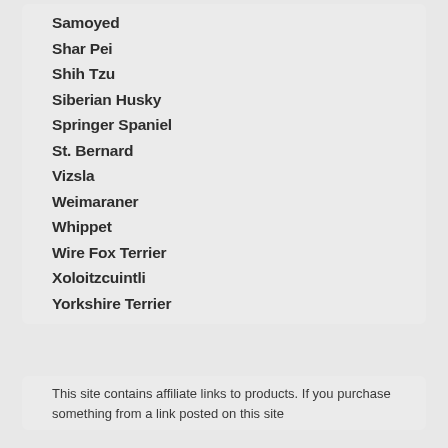Samoyed
Shar Pei
Shih Tzu
Siberian Husky
Springer Spaniel
St. Bernard
Vizsla
Weimaraner
Whippet
Wire Fox Terrier
Xoloitzcuintli
Yorkshire Terrier
This site contains affiliate links to products. If you purchase something from a link posted on this site